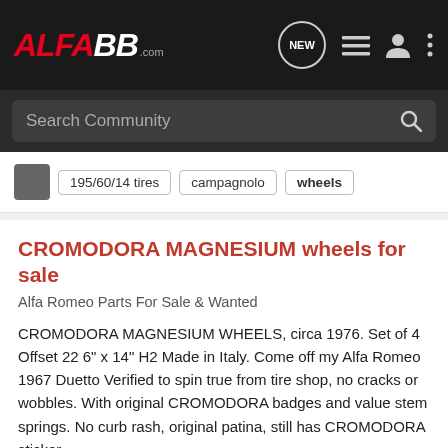ALFA88.com — navigation bar with NEW, list, user, and more icons
Search Community
195/60/14 tires
campagnolo
wheels
CROMODORA MAGNESIUM wheels for sale
Alfa Romeo Parts For Sale & Wanted
CROMODORA MAGNESIUM WHEELS, circa 1976. Set of 4 Offset 22 6" x 14" H2 Made in Italy. Come off my Alfa Romeo 1967 Duetto Verified to spin true from tire shop, no cracks or wobbles. With original CROMODORA badges and value stem springs. No curb rash, original patina, still has CROMODORA sticker...
9 comments · 4K views
mwadlund · Aug 3, 2019